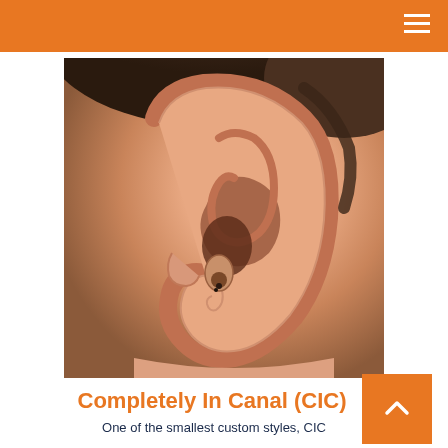[Figure (photo): Close-up photo of a human ear with a Completely In Canal (CIC) hearing aid inserted into the ear canal. The hearing aid is small and skin-toned, barely visible inside the ear.]
Completely In Canal (CIC)
One of the smallest custom styles, CIC